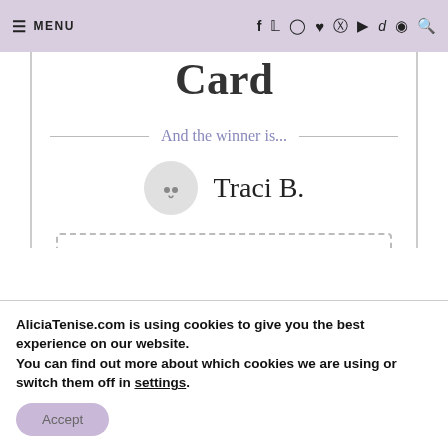≡ MENU  [social icons: f, twitter, instagram, heart, pinterest, youtube, tiktok, target, search]
Card
And the winner is...
Traci B.
Do you run giveaways, too? Try Rafflecopter! It's free.
AliciaTenise.com is using cookies to give you the best experience on our website.
You can find out more about which cookies we are using or switch them off in settings.
Accept